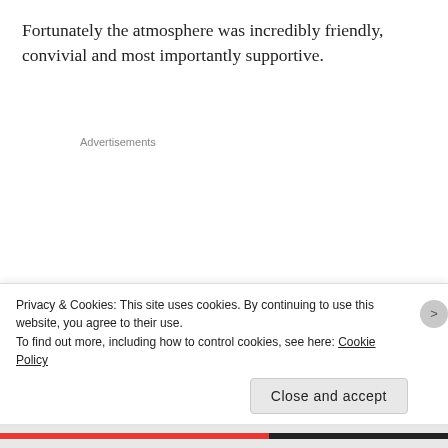Fortunately the atmosphere was incredibly friendly, convivial and most importantly supportive.
Advertisements
[Figure (illustration): Jetpack WordPress plugin advertisement banner. Green background with decorative circles and dot patterns. Shows Jetpack logo (lightning bolt icon with circle) and text 'The best real-time WordPress backup plugin' with a 'Back up your site' button.]
Privacy & Cookies: This site uses cookies. By continuing to use this website, you agree to their use.
To find out more, including how to control cookies, see here: Cookie Policy